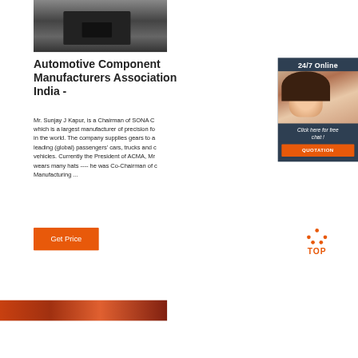[Figure (photo): Top portion of a machinery/industrial equipment photo in dark gray tones]
Automotive Component Manufacturers Association India -
[Figure (photo): Sidebar widget with '24/7 Online' header, photo of woman with headset, 'Click here for free chat!' text, and orange QUOTATION button]
Mr. Sunjay J Kapur, is a Chairman of SONA C which is a largest manufacturer of precision fo in the world. The company supplies gears to a leading (global) passengers' cars, trucks and c vehicles. Currently the President of ACMA, Mr wears many hats ---- he was Co-Chairman of Manufacturing ...
[Figure (other): Orange 'Get Price' button]
[Figure (other): Orange TOP arrow/icon with dots]
[Figure (photo): Bottom strip showing red/orange industrial machinery photo]